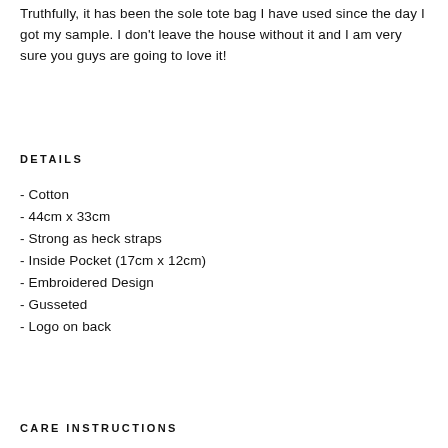Truthfully, it has been the sole tote bag I have used since the day I got my sample. I don't leave the house without it and I am very sure you guys are going to love it!
DETAILS
- Cotton
- 44cm x 33cm
- Strong as heck straps
- Inside Pocket (17cm x 12cm)
- Embroidered Design
- Gusseted
- Logo on back
CARE INSTRUCTIONS